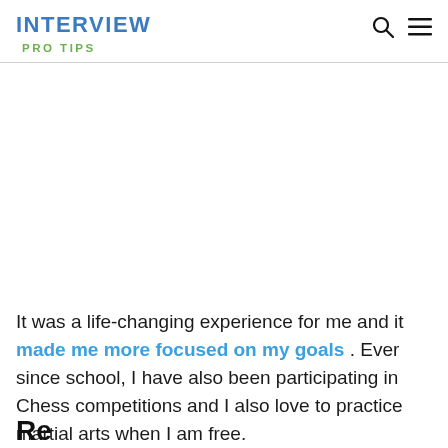INTERVIEW
PRO TIPS
It was a life-changing experience for me and it made me more focused on my goals . Ever since school, I have also been participating in Chess competitions and I also love to practice martial arts when I am free.
Re...